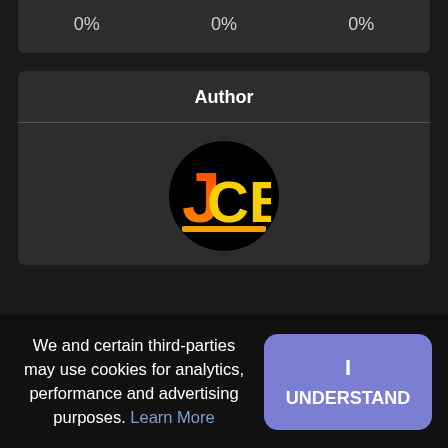[Figure (screenshot): Top bar with three percentage values 0%, 0%, 0% on a dark background]
[Figure (screenshot): Author card section with centered 'Author' heading, horizontal divider, and JCB logo (circular black avatar with orange-red-yellow JCB lettering)]
We and certain third-parties may use cookies for analytics, performance and advertising purposes. Learn More
[Figure (other): I UNDERSTAND button in purple/periwinkle color with rounded corners]